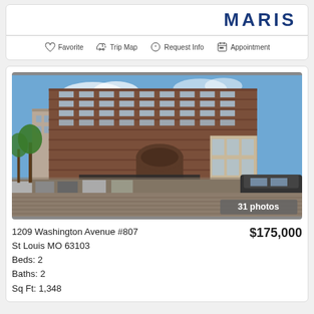[Figure (logo): MARIS logo in bold blue capital letters]
Favorite  Trip Map  Request Info  Appointment
[Figure (photo): Street-level photo of a multi-story brick building at 1209 Washington Avenue, St Louis, showing parked cars and a cobblestone street. Badge reads '31 photos'.]
1209 Washington Avenue #807
St Louis MO 63103
Beds: 2
Baths: 2
Sq Ft: 1,348
$175,000